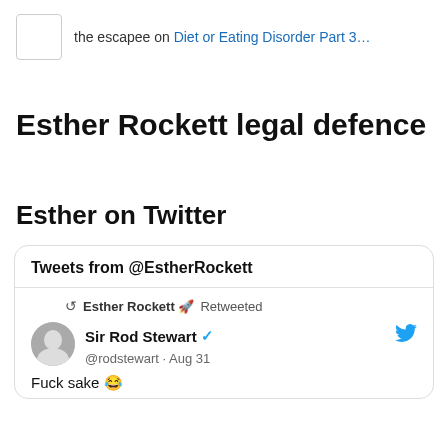the escapee on Diet or Eating Disorder Part 3...
Esther Rockett legal defence
Esther on Twitter
[Figure (screenshot): Embedded Twitter widget showing tweets from @EstherRockett. Contains a retweeted post from Sir Rod Stewart (@rodstewart, Aug 31) with the text 'Fuck sake 😂']